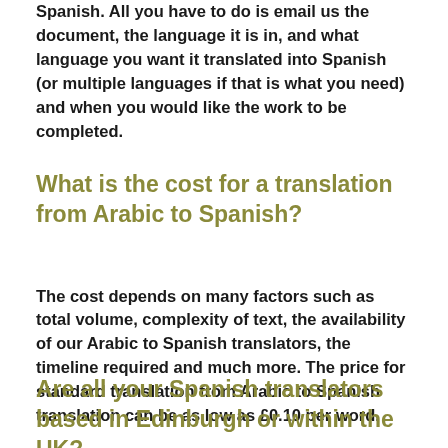Spanish. All you have to do is email us the document, the language it is in, and what language you want it translated into Spanish (or multiple languages if that is what you need) and when you would like the work to be completed.
What is the cost for a translation from Arabic to Spanish?
The cost depends on many factors such as total volume, complexity of text, the availability of our Arabic to Spanish translators, the timeline required and much more. The price for standard translation from Arabic to Spanish translation can be as low as £0.10 per word.
Are all your Spanish translators based in Edinburgh or within the UK?